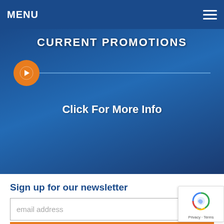MENU
[Figure (screenshot): Current Promotions banner with orange arrow circle, horizontal line, and 'Click For More Info' text on dark blue gradient background]
Sign up for our newsletter
email address
SUBSCRIBE
Advice on Our Dime–Not